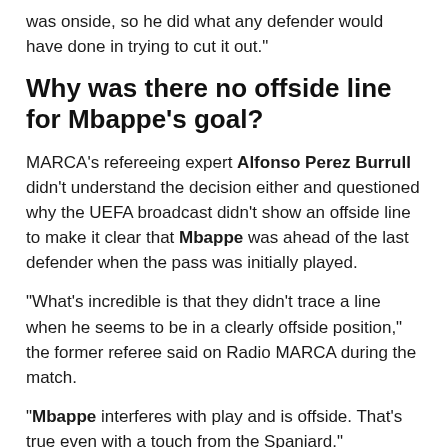was onside, so he did what any defender would have done in trying to cut it out."
Why was there no offside line for Mbappe's goal?
MARCA's refereeing expert Alfonso Perez Burrull didn't understand the decision either and questioned why the UEFA broadcast didn't show an offside line to make it clear that Mbappe was ahead of the last defender when the pass was initially played.
"What's incredible is that they didn't trace a line when he seems to be in a clearly offside position," the former referee said on Radio MARCA during the match.
"Mbappe interferes with play and is offside. That's true even with a touch from the Spaniard."
Adblock test (Why?)